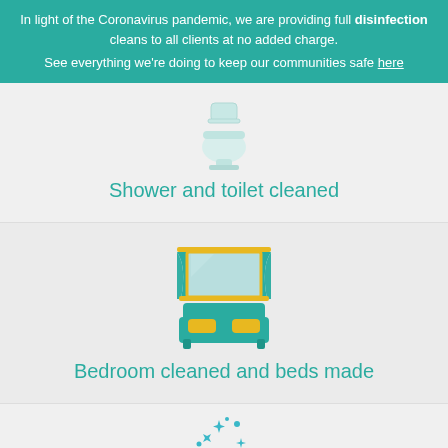In light of the Coronavirus pandemic, we are providing full disinfection cleans to all clients at no added charge. See everything we're doing to keep our communities safe here
[Figure (illustration): Teal/white toilet icon]
Shower and toilet cleaned
[Figure (illustration): Teal bed with yellow pillows and teal curtains/mirror above]
Bedroom cleaned and beds made
[Figure (illustration): Cleaning/sparkle icon with stars and a round surface]